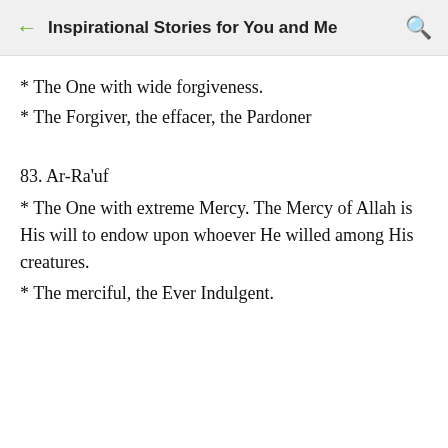Inspirational Stories for You and Me
* The One with wide forgiveness.
* The Forgiver, the effacer, the Pardoner
83. Ar-Ra'uf
* The One with extreme Mercy. The Mercy of Allah is His will to endow upon whoever He willed among His creatures.
* The merciful, the Ever Indulgent.